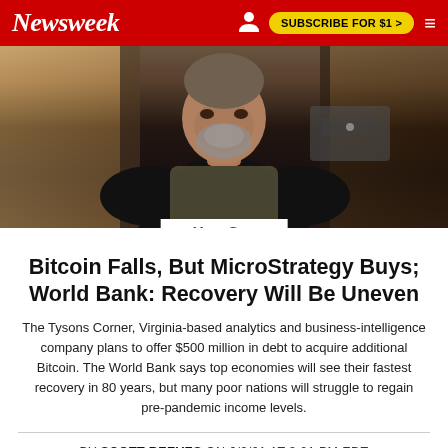Newsweek | SUBSCRIBE FOR $1 >
[Figure (photo): A man with a grey beard wearing a black shirt, seated in a chair, photographed from chest up in a dimly lit room with wooden paneling behind him.]
U.S.
Bitcoin Falls, But MicroStrategy Buys; World Bank: Recovery Will Be Uneven
The Tysons Corner, Virginia-based analytics and business-intelligence company plans to offer $500 million in debt to acquire additional Bitcoin. The World Bank says top economies will see their fastest recovery in 80 years, but many poor nations will struggle to regain pre-pandemic income levels.
BY SCOTT REEVES ON 6/9/21 AT 3:01 PM EDT